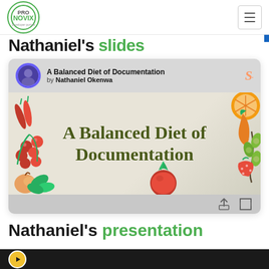PRONOVIX Developer portals — navigation bar
Nathaniel's slides
[Figure (screenshot): A Balanced Diet of Documentation slide card by Nathaniel Okenwa on SlideShare, showing a decorative slide with food illustrations (chili peppers, berries, carrots, olives, strawberry, tomatoes) and the title 'A Balanced Diet of Documentation' in dark olive serif font on a light background.]
Nathaniel's presentation
[Figure (screenshot): Bottom preview strip showing the start of an embedded video player with dark background and a yellow circular icon.]